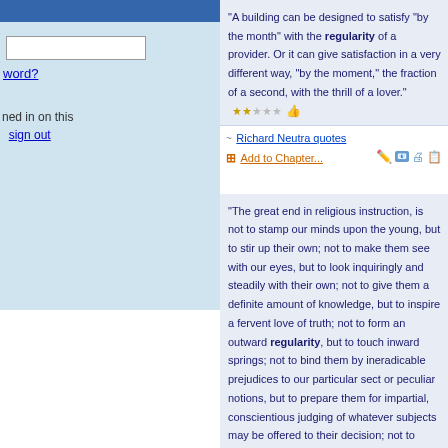[Figure (screenshot): Left sidebar with login input field, 'word?' link, and 'ned in on this / sign out' text on light blue background]
“A building can be designed to satisfy "by the month" with the regularity of a provider. Or it can give satisfaction in a very different way, "by the moment," the fraction of a second, with the thrill of a lover.”
Richard Neutra quotes
Add to Chapter...
“The great end in religious instruction, is not to stamp our minds upon the young, but to stir up their own; not to make them see with our eyes, but to look inquiringly and steadily with their own; not to give them a definite amount of knowledge, but to inspire a fervent love of truth; not to form an outward regularity, but to touch inward springs; not to bind them by ineradicable prejudices to our particular sect or peculiar notions, but to prepare them for impartial, conscientious judging of whatever subjects may be offered to their decision; not to burden memory, but to quicken and strengthen the power of thought.”
William Ellery Channing quotes (American moralist, Unitarian Clergyman and Author, 1780-1842)
Add to Chapter...
“The Universe forces those who live in it to understand it. Those creatures who find everyday experience a muddled jumble of events with no predictability, no regularity, are in grave peril. The Universe belongs to those who, at least to some degree, have figured it out.”